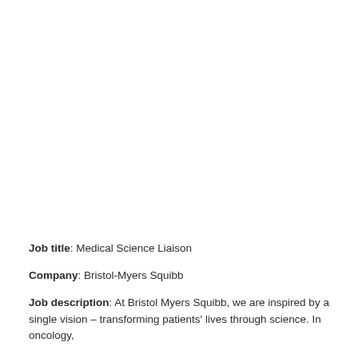Job title: Medical Science Liaison
Company: Bristol-Myers Squibb
Job description: At Bristol Myers Squibb, we are inspired by a single vision – transforming patients' lives through science. In oncology,